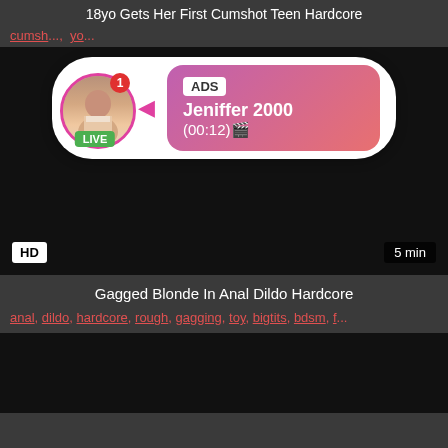18yo Gets Her First Cumshot Teen Hardcore
cumsh... yo...
[Figure (screenshot): Video player showing dark/black content with an ad overlay popup. The popup contains a circular avatar of a woman with a LIVE badge and notification dot, an arrow, and a pink gradient box with ADS label, name Jeniffer 2000, and time (00:12). HD badge bottom-left, 5 min badge bottom-right.]
Gagged Blonde In Anal Dildo Hardcore
anal, dildo, hardcore, rough, gagging, toy, bigtits, bdsm, f...
[Figure (screenshot): Dark/black video player thumbnail]